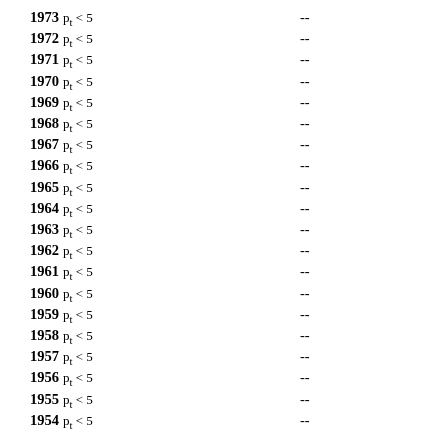1973 p_t < 5  --
1972 p_t < 5  --
1971 p_t < 5  --
1970 p_t < 5  --
1969 p_t < 5  --
1968 p_t < 5  --
1967 p_t < 5  --
1966 p_t < 5  --
1965 p_t < 5  --
1964 p_t < 5  --
1963 p_t < 5  --
1962 p_t < 5  --
1961 p_t < 5  --
1960 p_t < 5  --
1959 p_t < 5  --
1958 p_t < 5  --
1957 p_t < 5  --
1956 p_t < 5  --
1955 p_t < 5  --
1954 p_t < 5  --